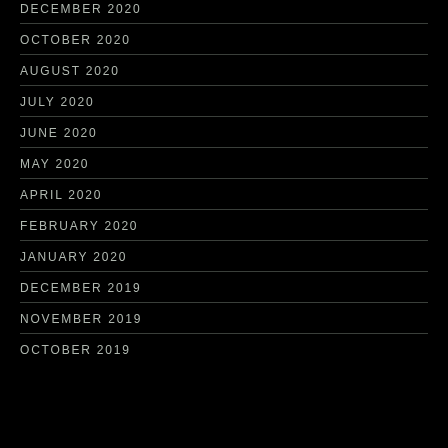DECEMBER 2020
OCTOBER 2020
AUGUST 2020
JULY 2020
JUNE 2020
MAY 2020
APRIL 2020
FEBRUARY 2020
JANUARY 2020
DECEMBER 2019
NOVEMBER 2019
OCTOBER 2019